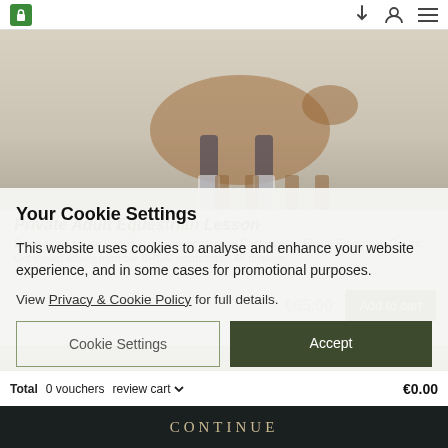🔒 ↓ 👤 ≡
[Figure (photo): Background photo of a horse with rider legs visible in an equestrian arena, seen from behind/side]
Private Adult Equestrian Lesson
Enjoy a one to one lesson in our indoor arena at Castle Leslie Estate Equestrian Centre. Get expert advice from our BHSAI instructors - 45 minutes
€65.00
Add to cart
Your Cookie Settings
This website uses cookies to analyse and enhance your website experience, and in some cases for promotional purposes.
View Privacy & Cookie Policy for full details.
Cookie Settings
Accept
Total  0 vouchers  review cart  €0.00
CONTINUE